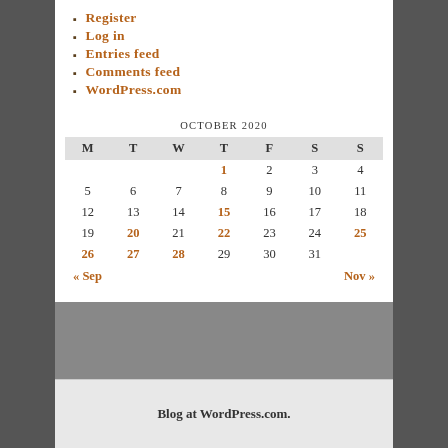Register
Log in
Entries feed
Comments feed
WordPress.com
| M | T | W | T | F | S | S |
| --- | --- | --- | --- | --- | --- | --- |
|  |  |  | 1 | 2 | 3 | 4 |
| 5 | 6 | 7 | 8 | 9 | 10 | 11 |
| 12 | 13 | 14 | 15 | 16 | 17 | 18 |
| 19 | 20 | 21 | 22 | 23 | 24 | 25 |
| 26 | 27 | 28 | 29 | 30 | 31 |  |
OCTOBER 2020
« Sep    Nov »
Blog at WordPress.com.